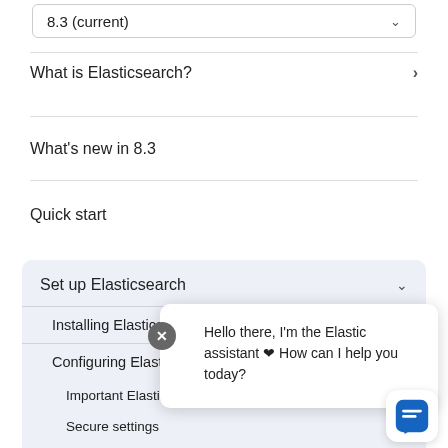8.3 (current)
What is Elasticsearch?
What's new in 8.3
Quick start
Set up Elasticsearch
Installing Elasticsearch
Configuring Elasticsearch
Important Elasticsearch configuration
Secure settings
Auditing se...
Circuit brea...
Cluster-level shard allocation and routing settings
Hello there, I'm the Elastic assistant 🤖 How can I help you today?